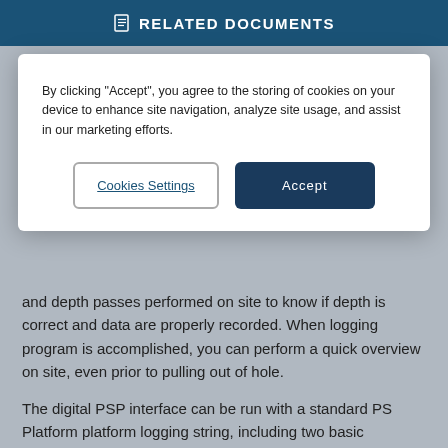RELATED DOCUMENTS
By clicking “Accept”, you agree to the storing of cookies on your device to enhance site navigation, analyze site usage, and assist in our marketing efforts.
Cookies Settings
Accept
and depth passes performed on site to know if depth is correct and data are properly recorded. When logging program is accomplished, you can perform a quick overview on site, even prior to pulling out of hole.
The digital PSP interface can be run with a standard PS Platform platform logging string, including two basic measurement sonde devices (PBMS-A and PBMS-B), gradiomanometer specific gravity profile tool (PGMS-B), and PS Platform platform inline spinner (PILS-A) and flow-caliper